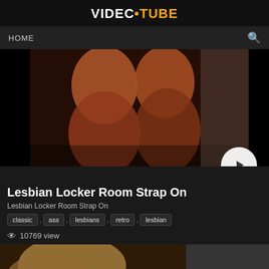VIDEO•TUBE
HOME
[Figure (screenshot): Video thumbnail showing two people in a locker room scene, warm orange-brown tones]
Lesbian Locker Room Strap On
Lesbian Locker Room Strap On
classic , ass , lesbians , retro , lesbian
10769 view
[Figure (screenshot): Second video thumbnail partially visible, duration badge showing 15:37]